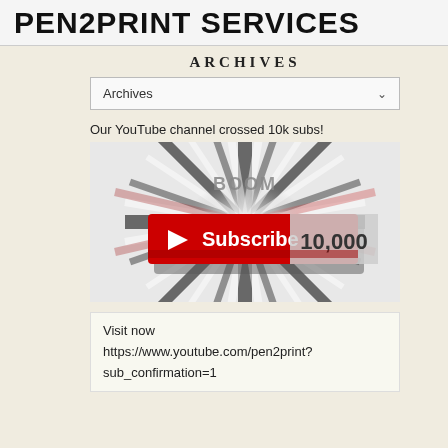PEN2PRINT SERVICES
ARCHIVES
Archives
Our YouTube channel crossed 10k subs!
[Figure (illustration): YouTube Subscribe button with 10,000 milestone, with BOOM text and burst rays background]
Visit now
https://www.youtube.com/pen2print?sub_confirmation=1